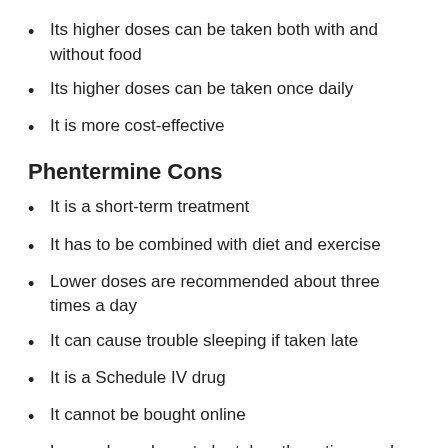Its higher doses can be taken both with and without food
Its higher doses can be taken once daily
It is more cost-effective
Phentermine Cons
It is a short-term treatment
It has to be combined with diet and exercise
Lower doses are recommended about three times a day
It can cause trouble sleeping if taken late
It is a Schedule IV drug
It cannot be bought online
Lower doses have to be taken three times a day